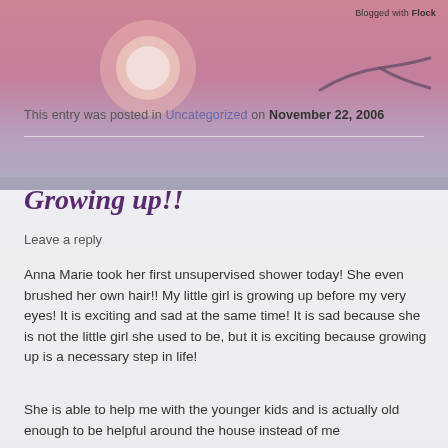[Figure (photo): Sunset over water with a seagull flying, pink and purple hues in the sky]
Blogged with Flock
This entry was posted in Uncategorized on November 22, 2006
Growing up!!
Leave a reply
Anna Marie took her first unsupervised shower today! She even brushed her own hair!! My little girl is growing up before my very eyes! It is exciting and sad at the same time! It is sad because she is not the little girl she used to be, but it is exciting because growing up is a necessary step in life!
She is able to help me with the younger kids and is actually old enough to be helpful around the house instead of me